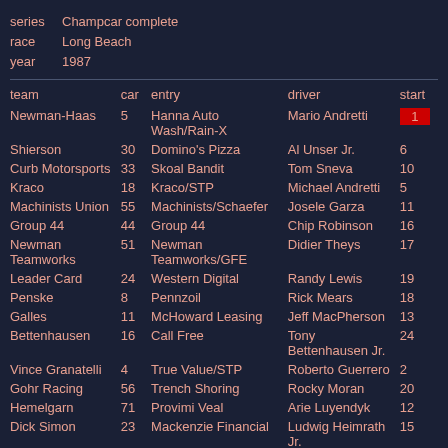series  Champcar complete
race    Long Beach
year    1987
| team | car | entry | driver | start |
| --- | --- | --- | --- | --- |
| Newman-Haas | 5 | Hanna Auto Wash/Rain-X | Mario Andretti | 1 |
| Shierson | 30 | Domino's Pizza | Al Unser Jr. | 6 |
| Curb Motorsports | 33 | Skoal Bandit | Tom Sneva | 10 |
| Kraco | 18 | Kraco/STP | Michael Andretti | 5 |
| Machinists Union | 55 | Machinists/Schaefer | Josele Garza | 11 |
| Group 44 | 44 | Group 44 | Chip Robinson | 16 |
| Newman Teamworks | 51 | Newman Teamworks/GFE | Didier Theys | 17 |
| Leader Card | 24 | Western Digital | Randy Lewis | 19 |
| Penske | 8 | Pennzoil | Rick Mears | 18 |
| Galles | 11 | McHoward Leasing | Jeff MacPherson | 13 |
| Bettenhausen | 16 | Call Free | Tony Bettenhausen Jr. | 24 |
| Vince Granatelli | 4 | True Value/STP | Roberto Guerrero | 2 |
| Gohr Racing | 56 | Trench Shoring | Rocky Moran | 20 |
| Hemelgarn | 71 | Provimi Veal | Arie Luyendyk | 12 |
| Dick Simon | 23 | Mackenzie Financial | Ludwig Heimrath Jr. | 15 |